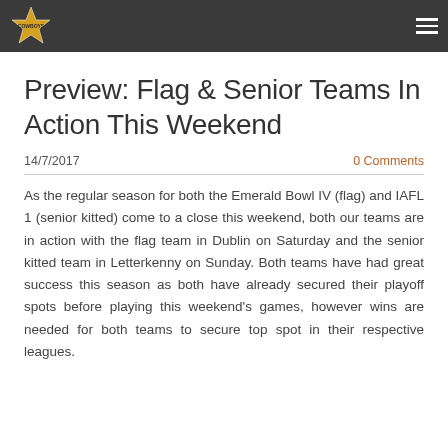Cowboys logo | navigation menu
Preview: Flag & Senior Teams In Action This Weekend
14/7/2017   0 Comments
As the regular season for both the Emerald Bowl IV (flag) and IAFL 1 (senior kitted) come to a close this weekend, both our teams are in action with the flag team in Dublin on Saturday and the senior kitted team in Letterkenny on Sunday. Both teams have had great success this season as both have already secured their playoff spots before playing this weekend's games, however wins are needed for both teams to secure top spot in their respective leagues.